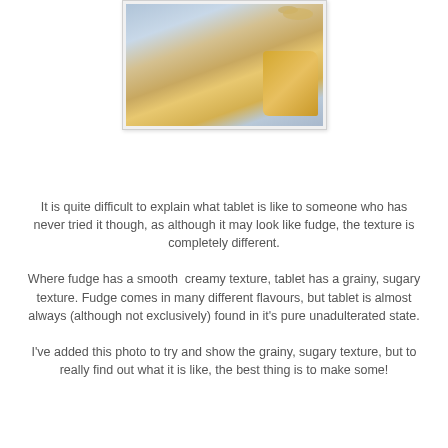[Figure (photo): Close-up photo of tablet (Scottish confectionery) showing its grainy, sugary texture, on a white cloth background with oat flakes visible at top]
It is quite difficult to explain what tablet is like to someone who has never tried it though, as although it may look like fudge, the texture is completely different.
Where fudge has a smooth  creamy texture, tablet has a grainy, sugary texture. Fudge comes in many different flavours, but tablet is almost always (although not exclusively) found in it's pure unadulterated state.
I've added this photo to try and show the grainy, sugary texture, but to really find out what it is like, the best thing is to make some!